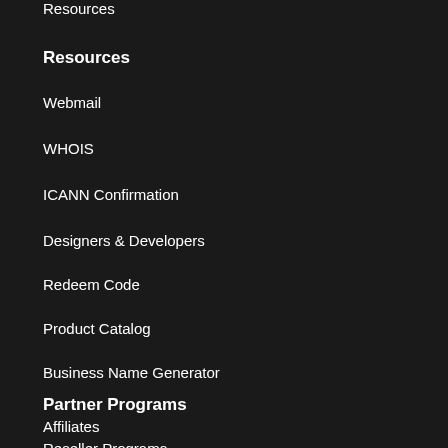Resources
Resources
Webmail
WHOIS
ICANN Confirmation
Designers & Developers
Redeem Code
Product Catalog
Business Name Generator
Partner Programs
Affiliates
Reseller Programs